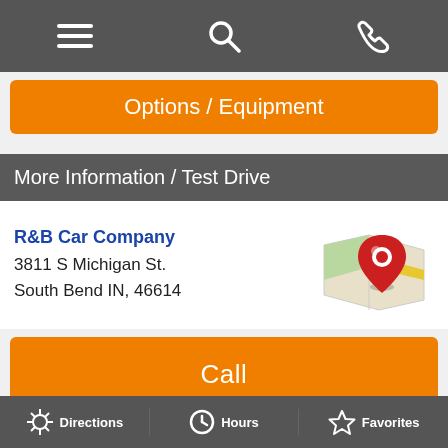Navigation bar with menu, search, and call icons
Options / Equipment
More Information / Test Drive
R&B Car Company
3811 S Michigan St.
South Bend IN, 46614
[Figure (illustration): Map location pin icon - red teardrop pin over a folded map illustration]
Call
Store Hours
Get Directions
Directions  Hours  Favorites